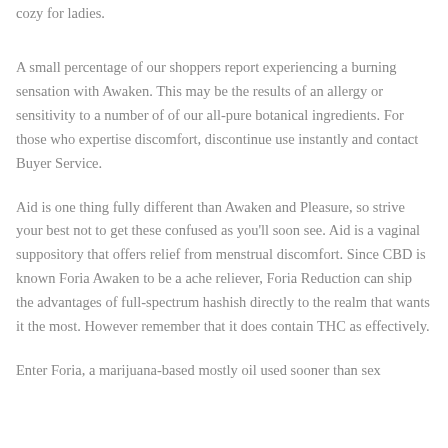cozy for ladies.
A small percentage of our shoppers report experiencing a burning sensation with Awaken. This may be the results of an allergy or sensitivity to a number of of our all-pure botanical ingredients. For those who expertise discomfort, discontinue use instantly and contact Buyer Service.
Aid is one thing fully different than Awaken and Pleasure, so strive your best not to get these confused as you'll soon see. Aid is a vaginal suppository that offers relief from menstrual discomfort. Since CBD is known Foria Awaken to be a ache reliever, Foria Reduction can ship the advantages of full-spectrum hashish directly to the realm that wants it the most. However remember that it does contain THC as effectively.
Enter Foria, a marijuana-based mostly oil used sooner than sex